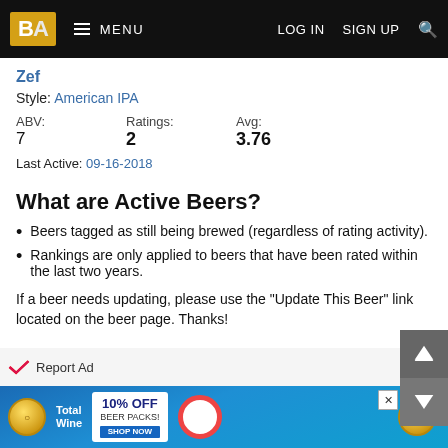BA  ≡ MENU    LOG IN  SIGN UP  🔍
Zef
Style: American IPA
ABV: 7   Ratings: 2   Avg: 3.76
Last Active: 09-16-2018
What are Active Beers?
Beers tagged as still being brewed (regardless of rating activity).
Rankings are only applied to beers that have been rated within the last two years.
If a beer needs updating, please use the "Update This Beer" link located on the beer page. Thanks!
[Figure (screenshot): Total Wine 10% OFF Beer Packs advertisement banner with pool water background, coins and life ring]
Report Ad